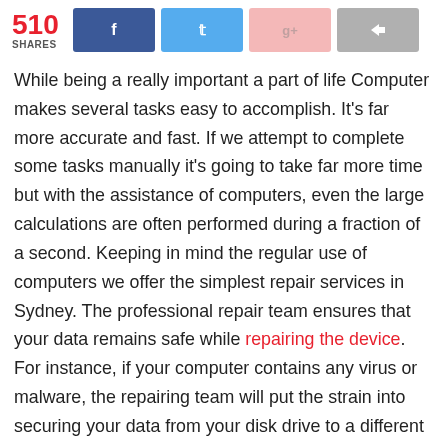510 SHARES [Facebook] [Twitter] [Google+] [Share]
While being a really important a part of life Computer makes several tasks easy to accomplish. It's far more accurate and fast. If we attempt to complete some tasks manually it's going to take far more time but with the assistance of computers, even the large calculations are often performed during a fraction of a second. Keeping in mind the regular use of computers we offer the simplest repair services in Sydney. The professional repair team ensures that your data remains safe while repairing the device. For instance, if your computer contains any virus or malware, the repairing team will put the strain into securing your data from your disk drive to a different computer. We always attempt to make sure that there must be a timely backup of the client's files to stay on the safe side.